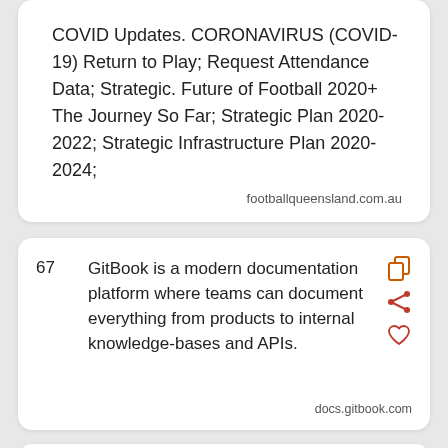COVID Updates. CORONAVIRUS (COVID-19) Return to Play; Request Attendance Data; Strategic. Future of Football 2020+ The Journey So Far; Strategic Plan 2020-2022; Strategic Infrastructure Plan 2020-2024; footballqueensland.com.au
67 GitBook is a modern documentation platform where teams can document everything from products to internal knowledge-bases and APIs. docs.gitbook.com
68 The mean latency period between the start of